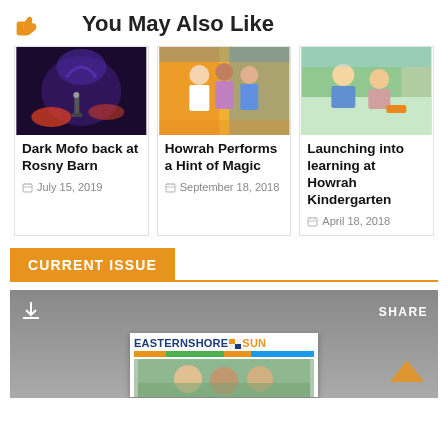You May Also Like
[Figure (photo): Dark mofo light art installation, dark purple/blue lighting with person silhouette]
Dark Mofo back at Rosny Barn
July 15, 2019
[Figure (photo): Howrah performers in colorful costumes posing together]
Howrah Performs a Hint of Magic
September 18, 2018
[Figure (photo): Two young children playing outdoors with toys]
Launching into learning at Howrah Kindergarten
April 18, 2018
CURRENT ISSUE
[Figure (screenshot): Eastern Shore Sun magazine cover preview with download and share toolbar]